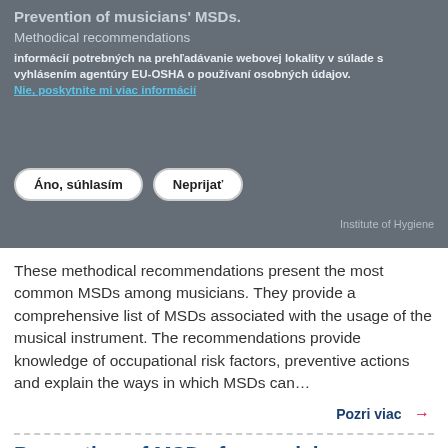[Figure (screenshot): Cookie consent banner overlay on website showing prevention of musicians MSDs page. Contains site titles in grey text, cookie notice text in Slovak, a link, and two buttons: 'Áno, súhlasim' and 'Neprijať'.]
These methodical recommendations present the most common MSDs among musicians. They provide a comprehensive list of MSDs associated with the usage of the musical instrument. The recommendations provide knowledge of occupational risk factors, preventive actions and explain the ways in which MSDs can…
Pozri viac →
Prevention of MSDs for musicians
Guides & Tools
Litva
Lithuanian
Institute of Hygiene